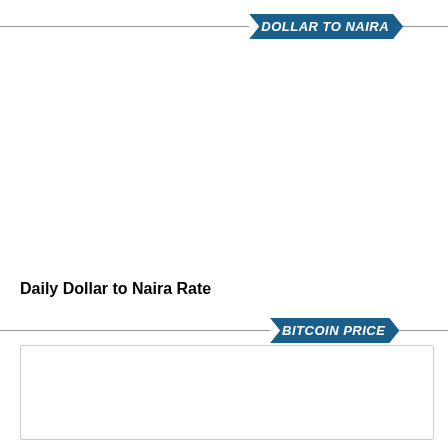DOLLAR TO NAIRA
Daily Dollar to Naira Rate
BITCOIN PRICE